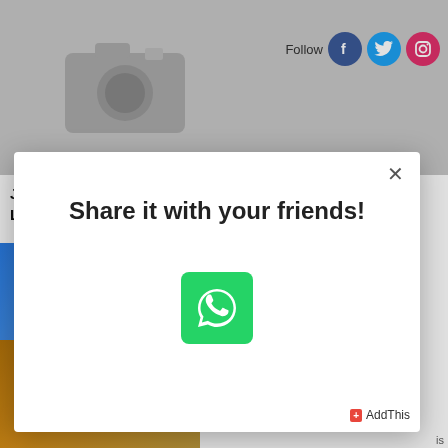[Figure (screenshot): Top banner with camera/photo placeholder icon on gray background]
[Figure (screenshot): Social follow icons: Facebook, Twitter, Instagram]
Job Alert Trust and Safety Content Analyst-Dutch Language Specialist
[Figure (photo): Person in blue outfit, partial view]
[Figure (photo): Food/basket image partial view bottom left]
Share it with your friends!
[Figure (logo): WhatsApp green button with phone icon]
AddThis
is